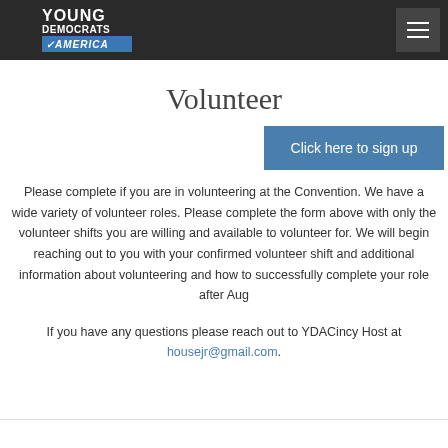Young Democrats of America — navigation header with logo and menu button
Volunteer
Click here to sign up
Please complete if you are in volunteering at the Convention. We have a wide variety of volunteer roles. Please complete the form above with only the volunteer shifts you are willing and available to volunteer for. We will begin reaching out to you with your confirmed volunteer shift and additional information about volunteering and how to successfully complete your role after August
If you have any questions please reach out to YDACincy Host at housejr@gmail.com.